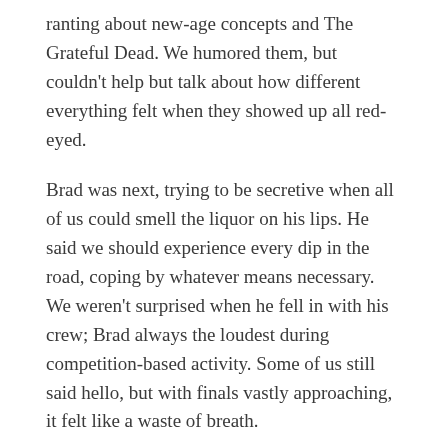ranting about new-age concepts and The Grateful Dead. We humored them, but couldn't help but talk about how different everything felt when they showed up all red-eyed.
Brad was next, trying to be secretive when all of us could smell the liquor on his lips. He said we should experience every dip in the road, coping by whatever means necessary. We weren't surprised when he fell in with his crew; Brad always the loudest during competition-based activity. Some of us still said hello, but with finals vastly approaching, it felt like a waste of breath.
Ruby and Austin started having sex in the spring, but justified their actions as love. We stomached their PDA, but sensed something was off. They enjoyed